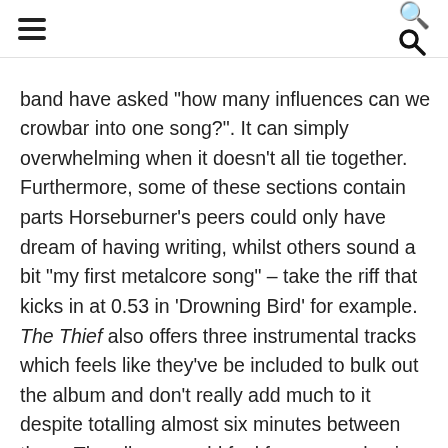[hamburger menu] [search icon]
band have asked "how many influences can we crowbar into one song?". It can simply overwhelming when it doesn't all tie together. Furthermore, some of these sections contain parts Horseburner's peers could only have dream of having writing, whilst others sound a bit "my first metalcore song" – take the riff that kicks in at 0.53 in 'Drowning Bird' for example. The Thief also offers three instrumental tracks which feels like they've be included to bulk out the album and don't really add much to it despite totalling almost six minutes between them. The album would feel far more cohesive without them. Whilst some may argue the instrumental tracks serve to tie the album together, coming full circle on a musical journey perhaps, it unfortunately feels a little lazy and unimaginative here.